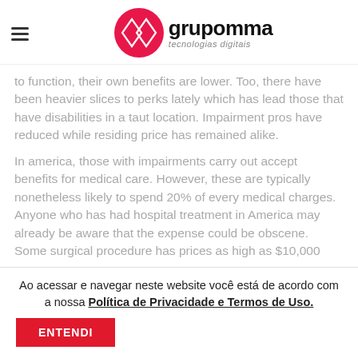grupomma tecnologias digitais
to function, their own benefits are lower. Too, there have been heavier slices to perks lately which has lead those that have disabilities in a taut location. Impairment pros have reduced while residing price has remained alike.
In america, those with impairments carry out accept benefits for medical care. However, these are typically nonetheless likely to spend 20% of every medical charges. Anyone who has had hospital treatment in America may already be aware that the expense could be obscene. Some surgical procedure has prices as high as $10,000
Ao acessar e navegar neste website você está de acordo com a nossa Política de Privacidade e Termos de Uso.
ENTENDI